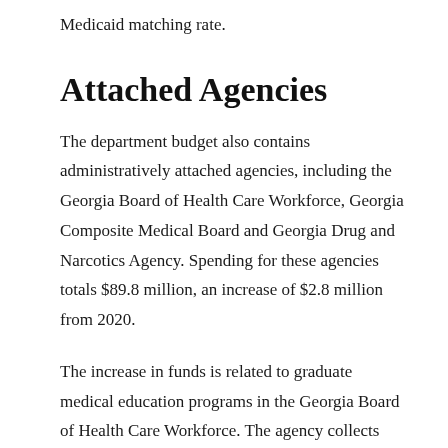Medicaid matching rate.
Attached Agencies
The department budget also contains administratively attached agencies, including the Georgia Board of Health Care Workforce, Georgia Composite Medical Board and Georgia Drug and Narcotics Agency. Spending for these agencies totals $89.8 million, an increase of $2.8 million from 2020.
The increase in funds is related to graduate medical education programs in the Georgia Board of Health Care Workforce. The agency collects data to determine health provider workforce needs in underserved areas and provides support to medical